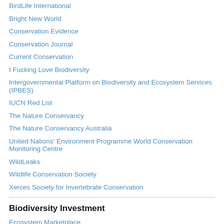BirdLife International
Bright New World
Conservation Evidence
Conservation Journal
Current Conservation
I Fucking Love Biodiversity
Intergovernmental Platform on Biodiversity and Ecosystem Services (IPBES)
IUCN Red List
The Nature Conservancy
The Nature Conservancy Australia
United Nations' Environment Programme World Conservation Monitoring Centre
WildLeaks
Wildlife Conservation Society
Xerces Society for Invertebrate Conservation
Biodiversity Investment
Ecosystem Marketplace